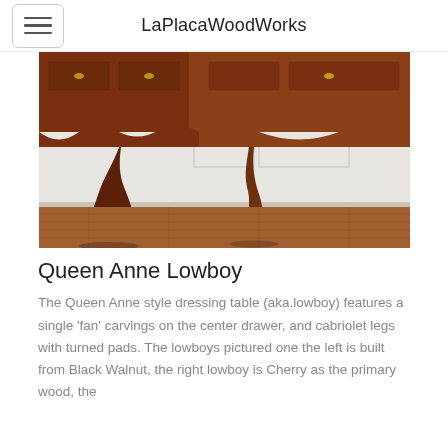LaPlacaWoodWorks
[Figure (photo): Close-up photograph of Queen Anne Lowboy legs — two cabriole legs with turned pad feet on a hardwood floor, with apron and drawer pulls visible at top, against a white paneled wall background.]
Queen Anne Lowboy
The Queen Anne style dressing table (aka.lowboy) features a single 'fan' carvings on the center drawer, and cabriolet legs with turned pads. The lowboys pictured one the left is built from Black Walnut, the right lowboy is Cherry as the primary wood, the